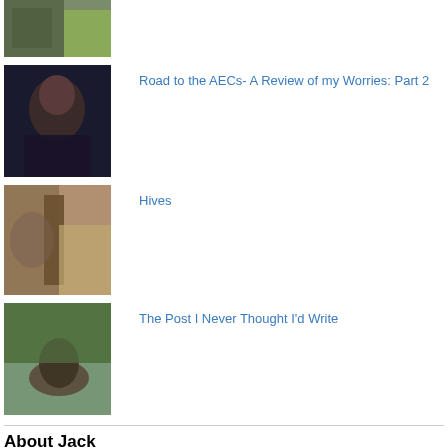[Figure (photo): Thumbnail image at top, partially visible, outdoor scene]
[Figure (photo): Person in dark dress, blog post thumbnail]
Road to the AECs- A Review of my Worries: Part 2
[Figure (photo): Horse near wooden post, blog post thumbnail]
Hives
[Figure (photo): Person riding horse through water, blog post thumbnail]
The Post I Never Thought I'd Write
About Jack